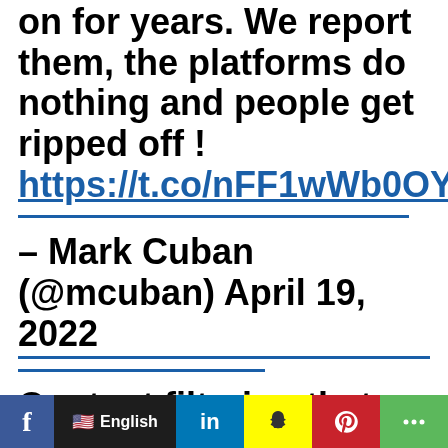on for years. We report them, the platforms do nothing and people get ripped off ! https://t.co/nFF1wWb0OY
– Mark Cuban (@mcuban) April 19, 2022
Content filtering that we hear so much. If a platform can't detect fake Keto or CBD gummy ads, can they
[Figure (infographic): Social media share bar with Facebook, language selector (English with US flag), LinkedIn, Snapchat, Pinterest, and share icons]